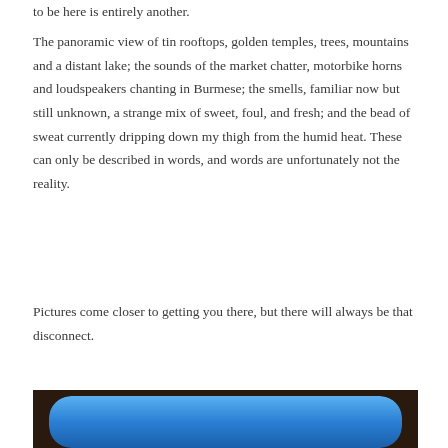to be here is entirely another.
The panoramic view of tin rooftops, golden temples, trees, mountains and a distant lake; the sounds of the market chatter, motorbike horns and loudspeakers chanting in Burmese; the smells, familiar now but still unknown, a strange mix of sweet, foul, and fresh; and the bead of sweat currently dripping down my thigh from the humid heat. These can only be described in words, and words are unfortunately not the reality.
Pictures come closer to getting you there, but there will always be that disconnect.
[Figure (photo): Partial view of a screen or device showing a blue gradient background with rounded corners, set against a dark brown/black frame. Only the top portion of the image is visible.]